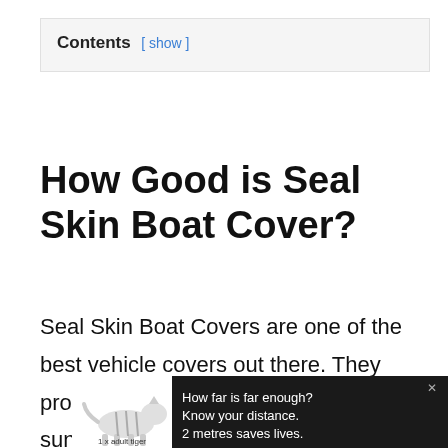Contents [ show ]
How Good is Seal Skin Boat Cover?
Seal Skin Boat Covers are one of the best vehicle covers out there. They protect your vehicles' paint from the sun, keep dust off of the vehicle. These covers are made from the industry's finest quality m...
[Figure (other): Advertisement banner with a tiger illustration reading 'How far is far enough? Know your distance. 2 metres saves lives. 1 x adult tiger']